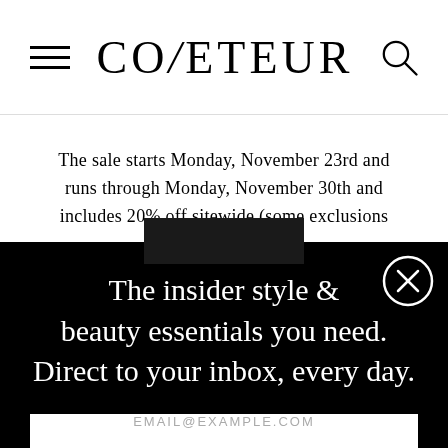COVETEUR
The sale starts Monday, November 23rd and runs through Monday, November 30th and includes 20% off sitewide (some exclusions apply) with code: “GAUXTIME.”
The insider style & beauty essentials you need. Direct to your inbox, every day.
EMAIL@EXAMPLE.COM
SIGN UP